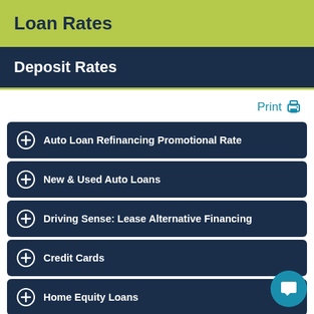Loan Rates
Deposit Rates
Print
Auto Loan Refinancing Promotional Rate
New & Used Auto Loans
Driving Sense: Lease Alternative Financing
Credit Cards
Home Equity Loans